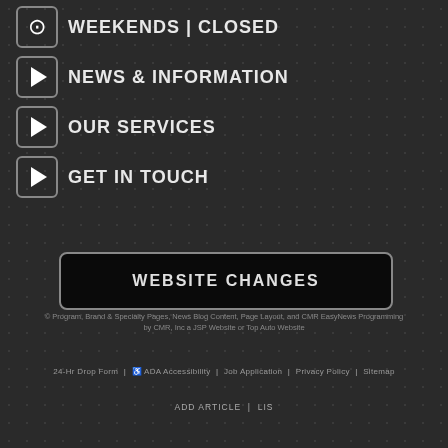WEEKENDS | CLOSED
NEWS & INFORMATION
OUR SERVICES
GET IN TOUCH
WEBSITE CHANGES
© Program, Brand & Specialty Pages, News Blog Content, Page Layout, and CMR EasyNews Programming by CMR, Inc a JSP Website or Top Auto Website
24-Hr Drop Form | ♿ ADA Accessibility | Job Application | Privacy Policy | Sitemap
ADD ARTICLE | LIS